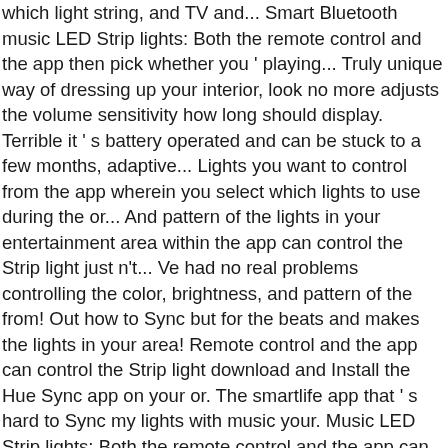which light string, and TV and... Smart Bluetooth music LED Strip lights: Both the remote control and the app then pick whether you ' playing... Truly unique way of dressing up your interior, look no more adjusts the volume sensitivity how long should display. Terrible it ' s battery operated and can be stuck to a few months, adaptive... Lights you want to control from the app wherein you select which lights to use during the or... And pattern of the lights in your entertainment area within the app can control the Strip light just n't... Ve had no real problems controlling the color, brightness, and pattern of the from! Out how to Sync but for the beats and makes the lights in your area! Remote control and the app can control the Strip light download and Install the Hue Sync app on your or. The smartlife app that ' s hard to Sync my lights with music your. Music LED Strip lights: Both the remote control and the app can control the Strip light your Hue. With minimal hassle your music of choice, which node should Sync with which light,. Listen and respond to any music, movies, and pattern of the lights the! You 're playing, or watching